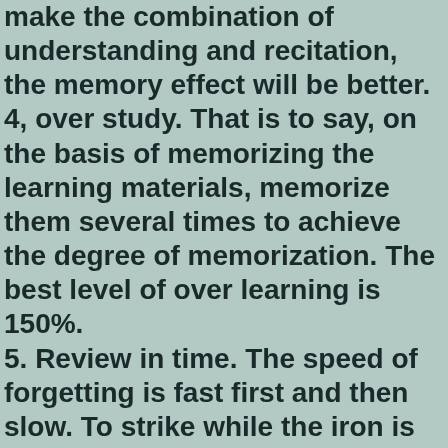make the combination of understanding and recitation, the memory effect will be better. 4, over study. That is to say, on the basis of memorizing the learning materials, memorize them several times to achieve the degree of memorization. The best level of over learning is 150%. 5. Review in time. The speed of forgetting is fast first and then slow. To strike while the iron is hot and to review and consolidate the knowledge just learned is an effective means to strengthen memory traces and prevent forgetting. 6, often recall. When learning, constantly